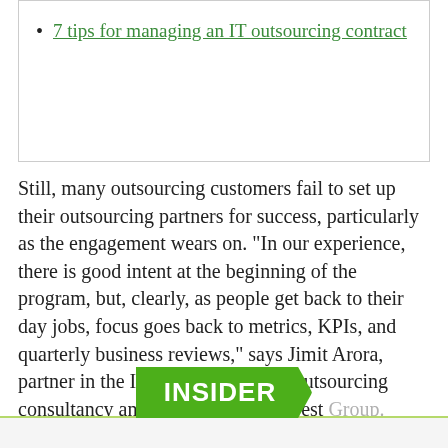7 tips for managing an IT outsourcing contract
Still, many outsourcing customers fail to set up their outsourcing partners for success, particularly as the engagement wears on. “In our experience, there is good intent at the beginning of the program, but, clearly, as people get back to their day jobs, focus goes back to metrics, KPIs, and quarterly business reviews,” says Jimit Arora, partner in the IT services group at outsourcing consultancy and research firm Everest Group. Arora estimates that 70 percent of outsourcing clients focused on transformation efforts fail to design their outsourcing relationships for long-term satisfaction.
[Figure (logo): Green arrow-shaped INSIDER badge/banner]